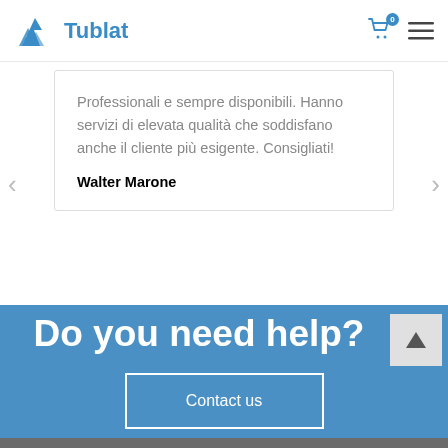Tublat
Professionali e sempre disponibili. Hanno servizi di elevata qualità che soddisfano anche il cliente più esigente. Consigliati!
Walter Marone
Do you need help?
Contact us